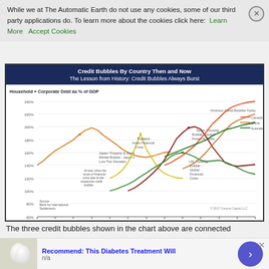household and (non-financial) corporate sector. Three large (G-20) countries are flashing warning signals today. Impeding banking crisis, financial instability and economic disruption in Australia.
While we at The Automatic Earth do not use any cookies, some of our third party applications do. To learn more about the cookies click here: Learn More  Accept Cookies
[Figure (line-chart): Multi-line chart showing credit bubbles by country comparing historical periods. Orange line: Japan (Property & Stock Market Bubble - Japan's Lost Two Decades), Yellow line: Thailand (Asian Financial Crisis), Dark red/maroon line: Spain (Housing Bubble - Global Financial Crisis), Green line: US (Housing Bubble - Global Financial Crisis), and current lines for Canada, China, Australia labeled as Ominous Credit Bubbles Today. Y-axis from 60% to 240%. X-axis from 1980 to 2016. Source: Bank for International Settlements. Copyright 2017 Crescat Capital LLC.]
The three credit bubbles shown in the chart above are connected
[Figure (infographic): Advertisement banner: Recommend: This Diabetes Treatment Will. Shows image of white eggs/capsules. n/a text. Purple circular button with right arrow.]